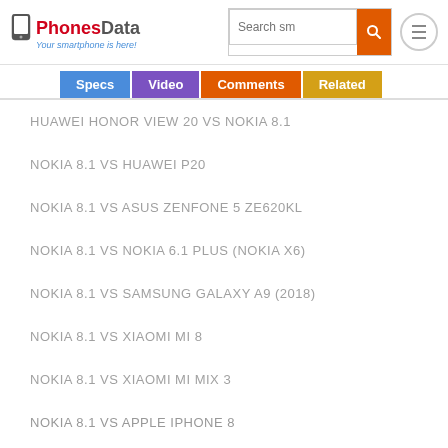[Figure (logo): PhonesData logo with smartphone icon, red 'PhonesData' text, blue tagline 'Your smartphone is here!']
HUAWEI HONOR VIEW 20 VS NOKIA 8.1
NOKIA 8.1 VS HUAWEI P20
NOKIA 8.1 VS ASUS ZENFONE 5 ZE620KL
NOKIA 8.1 VS NOKIA 6.1 PLUS (NOKIA X6)
NOKIA 8.1 VS SAMSUNG GALAXY A9 (2018)
NOKIA 8.1 VS XIAOMI MI 8
NOKIA 8.1 VS XIAOMI MI MIX 3
NOKIA 8.1 VS APPLE IPHONE 8